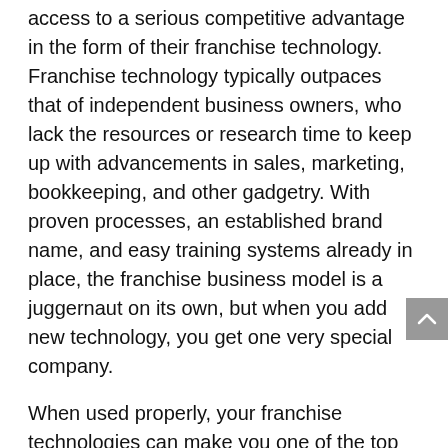access to a serious competitive advantage in the form of their franchise technology. Franchise technology typically outpaces that of independent business owners, who lack the resources or research time to keep up with advancements in sales, marketing, bookkeeping, and other gadgetry. With proven processes, an established brand name, and easy training systems already in place, the franchise business model is a juggernaut on its own, but when you add new technology, you get one very special company.
When used properly, your franchise technologies can make you one of the top franchises in NY by increasing efficiency and productivity, and minimizing errors as well as the demand for man-power.
Read on to learn 5 technology benefits of the top